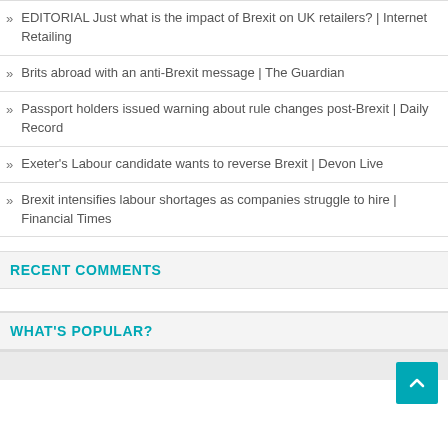EDITORIAL Just what is the impact of Brexit on UK retailers? | Internet Retailing
Brits abroad with an anti-Brexit message | The Guardian
Passport holders issued warning about rule changes post-Brexit | Daily Record
Exeter's Labour candidate wants to reverse Brexit | Devon Live
Brexit intensifies labour shortages as companies struggle to hire | Financial Times
RECENT COMMENTS
WHAT'S POPULAR?